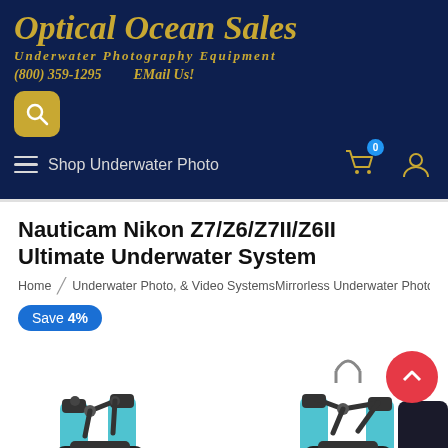[Figure (logo): Optical Ocean Sales logo with company name in gold italic serif text on dark navy background, with subtitle 'UNDERWATER PHOTOGRAPHY EQUIPMENT' and contact info '(800) 359-1295  EMail Us!']
[Figure (screenshot): Navigation bar with search icon button (gold), hamburger menu 'Shop Underwater Photo', cart icon with blue badge showing 0, and user account icon, all on dark navy background]
Nauticam Nikon Z7/Z6/Z7II/Z6II Ultimate Underwater System
Home / Underwater Photo, & Video SystemsMirrorless Underwater Photo
Save 4%
[Figure (photo): Product images of Nauticam Nikon Z7/Z6/Z7II/Z6II Ultimate Underwater System showing underwater camera housings with arms and strobes, two partial images visible side by side, with a red scroll-to-top button in the top right]